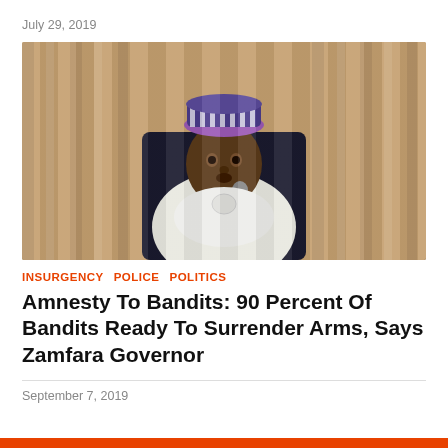July 29, 2019
[Figure (photo): A man in a white traditional Nigerian outfit and colorful striped cap sits in a dark leather chair, speaking into a microphone. The background shows beige curtains.]
INSURGENCY  POLICE  POLITICS
Amnesty To Bandits: 90 Percent Of Bandits Ready To Surrender Arms, Says Zamfara Governor
September 7, 2019